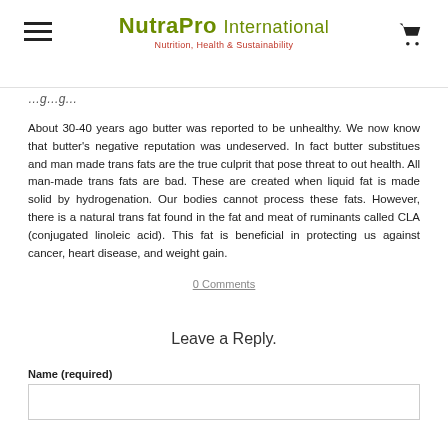NutraPro International — Nutrition, Health & Sustainability
About 30-40 years ago butter was reported to be unhealthy. We now know that butter's negative reputation was undeserved. In fact butter substitues and man made trans fats are the true culprit that pose threat to out health. All man-made trans fats are bad. These are created when liquid fat is made solid by hydrogenation. Our bodies cannot process these fats. However, there is a natural trans fat found in the fat and meat of ruminants called CLA (conjugated linoleic acid). This fat is beneficial in protecting us against cancer, heart disease, and weight gain.
0 Comments
Leave a Reply.
Name (required)